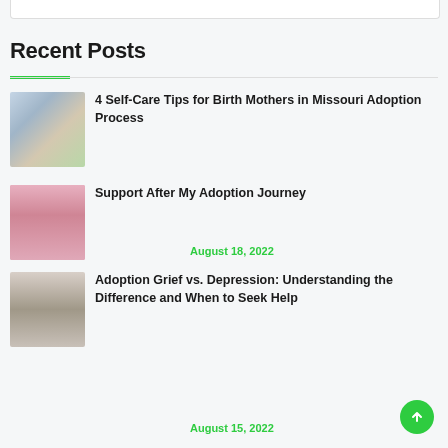Recent Posts
4 Self-Care Tips for Birth Mothers in Missouri Adoption Process
August 18, 2022
Support After My Adoption Journey
August 15, 2022
Adoption Grief vs. Depression: Understanding the Difference and When to Seek Help
August 11, 2022